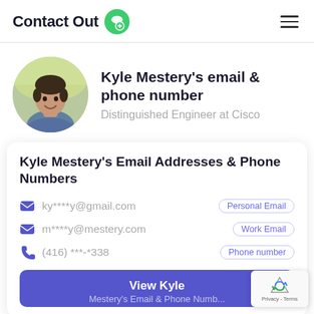ContactOut
[Figure (photo): Profile photo of Kyle Mestery, a man smiling, shown in a circular crop]
Kyle Mestery's email & phone number
Distinguished Engineer at Cisco
Kyle Mestery's Email Addresses & Phone Numbers
ky****y@gmail.com  Personal Email
m****y@mestery.com  Work Email
(416) ***-*338  Phone number
View Kyle